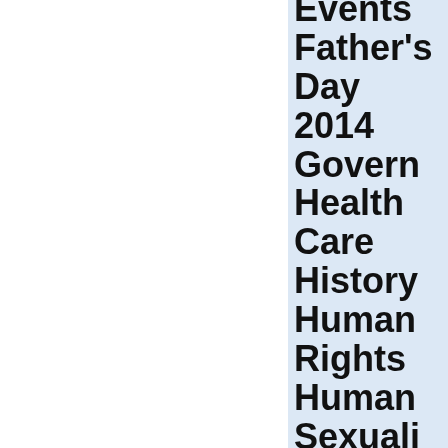Events
Father's Day 2014
Government Health Care
History
Human Rights
Human Sexuality
In the Know
Legislation
Life & Bioethics
Mapping America
Marriage